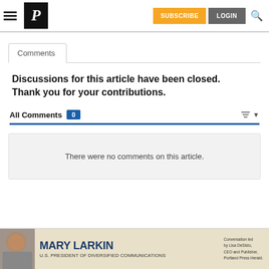Portland Press Herald - navigation bar with Subscribe, Login, Search
Comments
Discussions for this article have been closed. Thank you for your contributions.
All Comments 0
There were no comments on this article.
[Figure (infographic): Advertisement banner: Mary Larkin, U.S. President of Diversified Communications. Conversation led by Lisa DeSisto, CEO and Publisher, Portland Press Herald.]